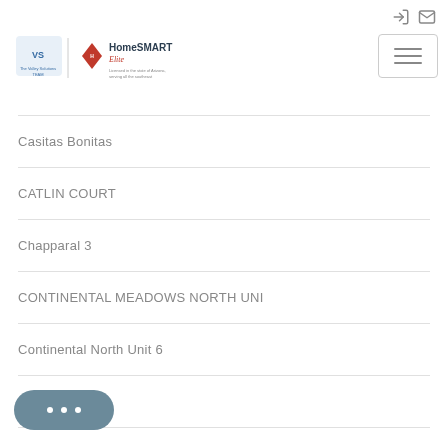[Figure (logo): The Valley Solutions Team and HomeSMART Elite logos combined]
Casitas Bonitas
CATLIN COURT
Chapparal 3
CONTINENTAL MEADOWS NORTH UNI
Continental North Unit 6
Copper Cove
…ge